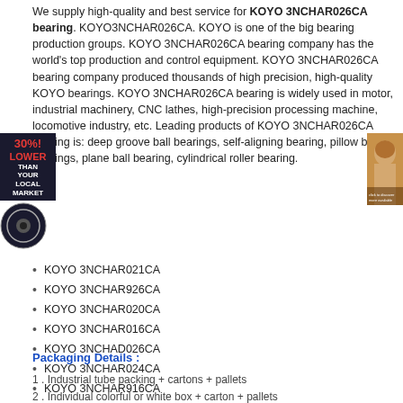We supply high-quality and best service for KOYO 3NCHAR026CA bearing. KOYO3NCHAR026CA. KOYO is one of the big bearing production groups. KOYO 3NCHAR026CA bearing company has the world's top production and control equipment. KOYO 3NCHAR026CA bearing company produced thousands of high precision, high-quality KOYO bearings. KOYO 3NCHAR026CA bearing is widely used in motor, industrial machinery, CNC lathes, high-precision processing machine, locomotive industry, etc. Leading products of KOYO 3NCHAR026CA bearing is: deep groove ball bearings, self-aligning bearing, pillow block bearings, plane ball bearing, cylindrical roller bearing.
[Figure (illustration): Advertisement overlay showing '30%! LOWER THAN YOUR LOCAL MARKET' text in red and white on dark background, with a circular logo below and a small photo of a woman's face on the right side]
KOYO 3NCHAR021CA
KOYO 3NCHAR926CA
KOYO 3NCHAR020CA
KOYO 3NCHAR016CA
KOYO 3NCHAD026CA
KOYO 3NCHAR024CA
KOYO 3NCHAR916CA
KOYO 3NCHAR028CA
Packaging Details :
1 . Industrial tube packing + cartons + pallets
2 . Individual colorful or white box + carton + pallets